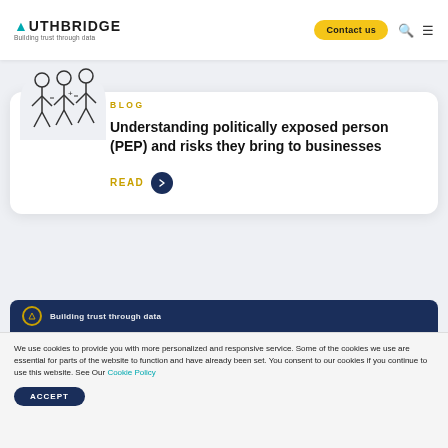AUTHBRIDGE — Building trust through data | Contact us
[Figure (illustration): Line drawing illustration of people figures standing together]
BLOG
Understanding politically exposed person (PEP) and risks they bring to businesses
READ →
[Figure (illustration): Partial dark blue card with icon visible at bottom]
We use cookies to provide you with more personalized and responsive service. Some of the cookies we use are essential for parts of the website to function and have already been set. You consent to our cookies if you continue to use this website. See Our Cookie Policy
ACCEPT